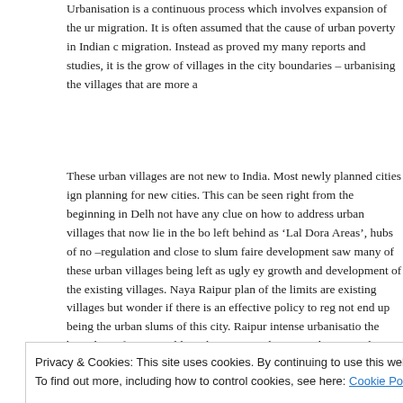Urbanisation is a continuous process which involves expansion of the urban boundary and rural urban migration. It is often assumed that the cause of urban poverty in Indian cities is mostly due to rural urban migration. Instead as proved my many reports and studies, it is the growth of villages in the city boundaries – urbanising the villages that are more a
These urban villages are not new to India. Most newly planned cities ign planning for new cities. This can be seen right from the beginning in Delh not have any clue on how to address urban villages that now lie in the bo left behind as 'Lal Dora Areas', hubs of no –regulation and close to slum faire development saw many of these urban villages being left as ugly ey growth and development of the existing villages. Naya Raipur plan of the limits are existing villages but wonder if there is an effective policy to reg not end up being the urban slums of this city. Raipur intense urbanisatio the boundary of municipal limit being revised again and again and village officially 'urban'. Though these villages maybe declared now part of the n Development Plan was quick to term them as slums!
Privacy & Cookies: This site uses cookies. By continuing to use this website, you agree to their use.
To find out more, including how to control cookies, see here: Cookie Policy
Close and accept
China's Approach – Seal the Village!